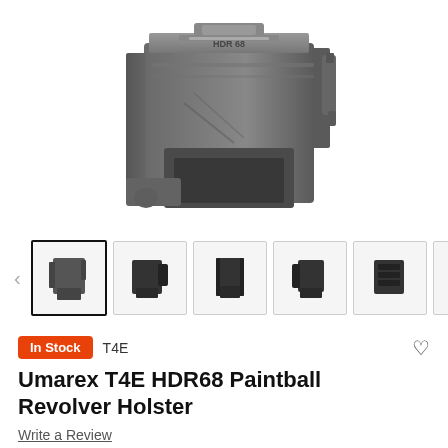[Figure (photo): Close-up photo of a dark gray plastic HDR 68 holster/magazine holder, viewed from the front. The text 'HDR 68' is molded into the top.]
[Figure (photo): Thumbnail image strip showing 6 different angle views of the Umarex T4E HDR68 Paintball Revolver Holster in black plastic. First thumbnail is selected with a bold border.]
In Stock
T4E
Umarex T4E HDR68 Paintball Revolver Holster
Write a Review